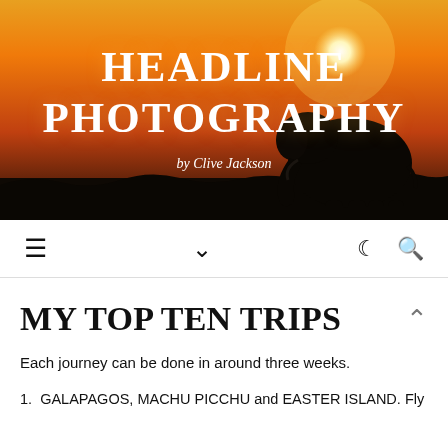[Figure (photo): Hero banner photograph of an elephant silhouette against a vivid orange and red African sunset sky, with a bright white sun in the upper right area. Dark ground/savanna silhouette at the bottom.]
HEADLINE PHOTOGRAPHY
by Clive Jackson
≡  ∨  ☾ 🔍
MY TOP TEN TRIPS
Each journey can be done in around three weeks.
1.  GALAPAGOS, MACHU PICCHU and EASTER ISLAND. Fly...